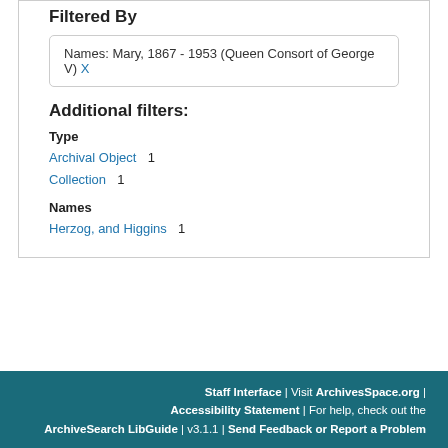Filtered By
Names: Mary, 1867 - 1953 (Queen Consort of George V) X
Additional filters:
Type
Archival Object 1
Collection 1
Names
Herzog, and Higgins 1
Staff Interface | Visit ArchivesSpace.org | Accessibility Statement | For help, check out the ArchiveSearch LibGuide | v3.1.1 | Send Feedback or Report a Problem